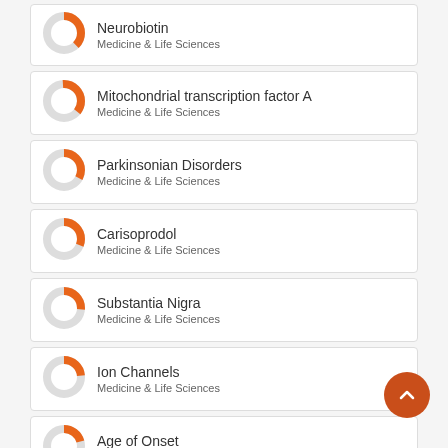Neurobiotin
Medicine & Life Sciences
Mitochondrial transcription factor A
Medicine & Life Sciences
Parkinsonian Disorders
Medicine & Life Sciences
Carisoprodol
Medicine & Life Sciences
Substantia Nigra
Medicine & Life Sciences
Ion Channels
Medicine & Life Sciences
Age of Onset
Medicine & Life Sciences